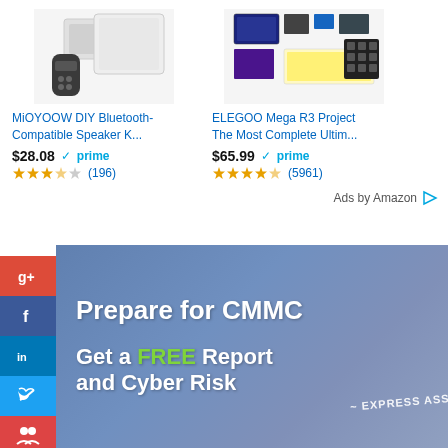[Figure (screenshot): Product image for MiOYOOW DIY Bluetooth-Compatible Speaker Kit with remote control]
[Figure (screenshot): Product image for ELEGOO Mega R3 Project electronics kit with various components]
MiOYOOW DIY Bluetooth-Compatible Speaker K...
ELEGOO Mega R3 Project The Most Complete Ultim...
$28.08 prime (196)
$65.99 prime (5961)
Ads by Amazon
[Figure (screenshot): Social media share buttons: Google+, Facebook, LinkedIn, Twitter, People, StumbleUpon]
[Figure (infographic): Advertisement banner with dark blue background reading 'Prepare for CMMC' and 'Get a FREE Report and Cyber Risk' with 'EXPRESS ASSE' partially visible]